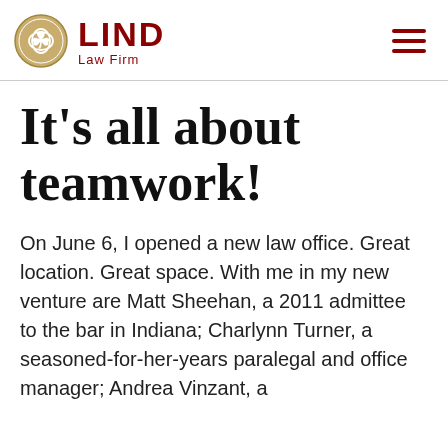LIND Law Firm
It’s all about teamwork!
On June 6, I opened a new law office. Great location. Great space. With me in my new venture are Matt Sheehan, a 2011 admittee to the bar in Indiana; Charlynn Turner, a seasoned-for-her-years paralegal and office manager; Andrea Vinzant, a